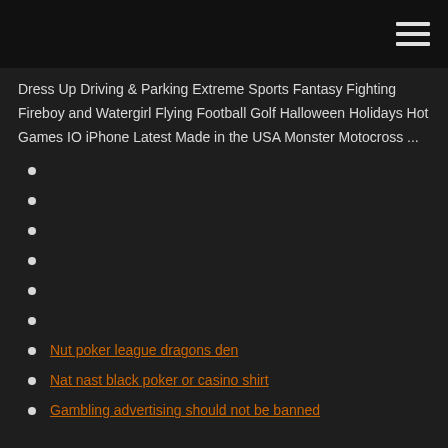Dress Up Driving & Parking Extreme Sports Fantasy Fighting Fireboy and Watergirl Flying Football Golf Halloween Holidays Hot Games IO iPhone Latest Made in the USA Monster Motocross ...
Nut poker league dragons den
Nat nast black poker or casino shirt
Gambling advertising should not be banned